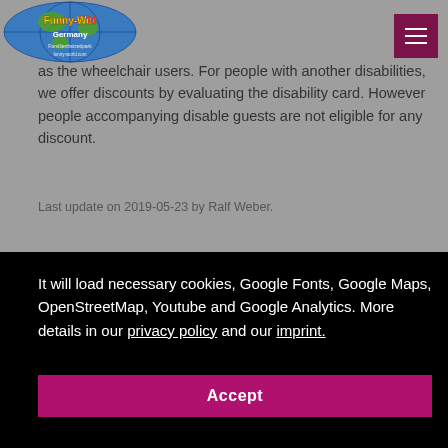[Figure (logo): Funny-World Germany logo — globe with colorful text]
as the wheelchair users. For people with another disabilities, we offer discounts by evaluating the disability card. However people accompanying disable guests are not eligible for any discount.
Last update on 2019-05-23 by Ralf Weber.
It will load necessary cookies, Google Fonts, Google Maps, OpenStreetMap, Youtube and Google Analytics. More details in our privacy policy and our imprint.
Accept